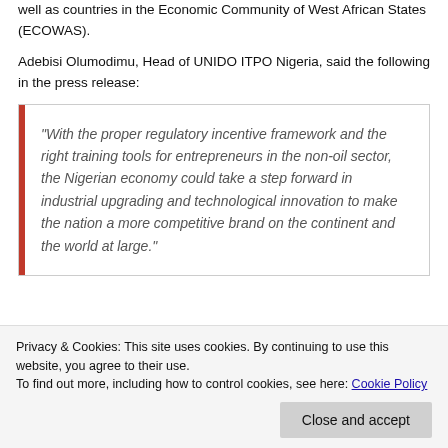well as countries in the Economic Community of West African States (ECOWAS).
Adebisi Olumodimu, Head of UNIDO ITPO Nigeria, said the following in the press release:
“With the proper regulatory incentive framework and the right training tools for entrepreneurs in the non-oil sector, the Nigerian economy could take a step forward in industrial upgrading and technological innovation to make the nation a more competitive brand on the continent and the world at large.”
Privacy & Cookies: This site uses cookies. By continuing to use this website, you agree to their use.
To find out more, including how to control cookies, see here: Cookie Policy